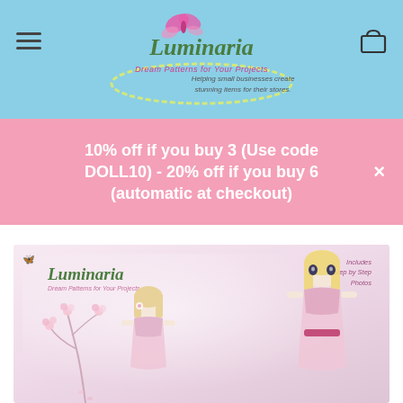Luminaria - Dream Patterns for Your Projects - Helping small businesses create stunning items for their stores.
10% off if you buy 3 (Use code DOLL10) - 20% off if you buy 6 (automatic at checkout)
[Figure (photo): Product cover image showing two anime-style dolls in pink dresses with cherry blossoms and the Luminaria logo. Text reads 'Luminaria Dream Patterns for Your Projects' and 'Includes Step by Step Photos'.]